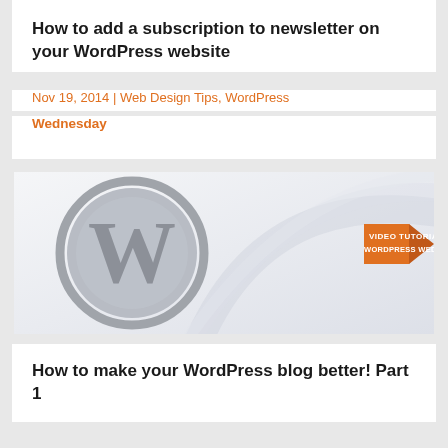How to add a subscription to newsletter on your WordPress website
Nov 19, 2014 | Web Design Tips, WordPress
Wednesday
[Figure (illustration): WordPress logo (large grey W in circle) on light grey/white gradient background with orange arrow and text 'VIDEO TUTORIAL WORDPRESS WEDNESDAY' in top right]
How to make your WordPress blog better! Part 1